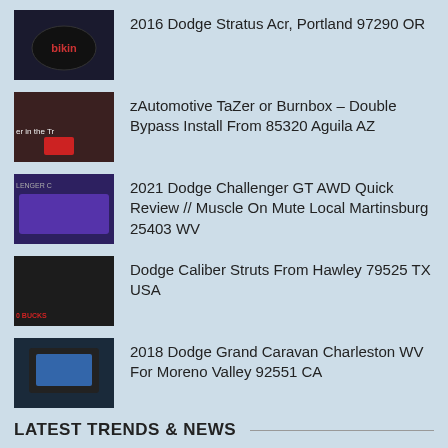2016 Dodge Stratus Acr, Portland 97290 OR
zAutomotive TaZer or Burnbox – Double Bypass Install From 85320 Aguila AZ
2021 Dodge Challenger GT AWD Quick Review // Muscle On Mute Local Martinsburg 25403 WV
Dodge Caliber Struts From Hawley 79525 TX USA
2018 Dodge Grand Caravan Charleston WV For Moreno Valley 92551 CA
LATEST TRENDS & NEWS
Dodge Caliber Jack Points
Dodge Caliber Key Fob
Dodge Caliber Lights
Dodge Caliber R/t